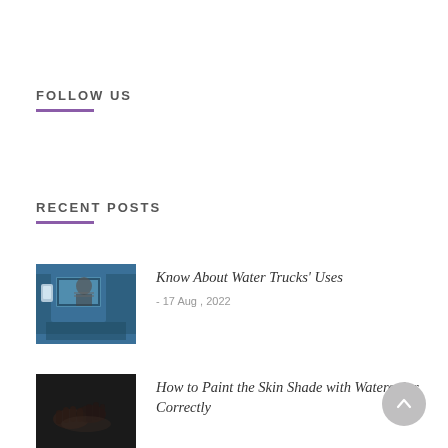FOLLOW US
RECENT POSTS
[Figure (photo): Blue truck cab viewed from the outside, person visible inside through window]
Know About Water Trucks' Uses
- 17 Aug , 2022
[Figure (photo): Dark image of hands, possibly painting or crafting]
How to Paint the Skin Shade with Watercolor Correctly